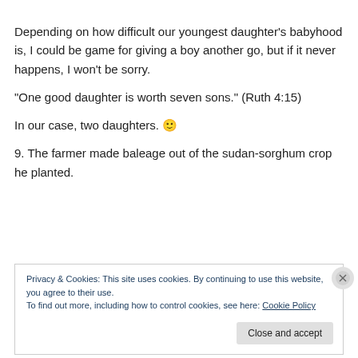Depending on how difficult our youngest daughter's babyhood is, I could be game for giving a boy another go, but if it never happens, I won't be sorry.
“One good daughter is worth seven sons.” (Ruth 4:15)
In our case, two daughters. 🙂
9. The farmer made baleage out of the sudan-sorghum crop he planted.
Privacy & Cookies: This site uses cookies. By continuing to use this website, you agree to their use.
To find out more, including how to control cookies, see here: Cookie Policy